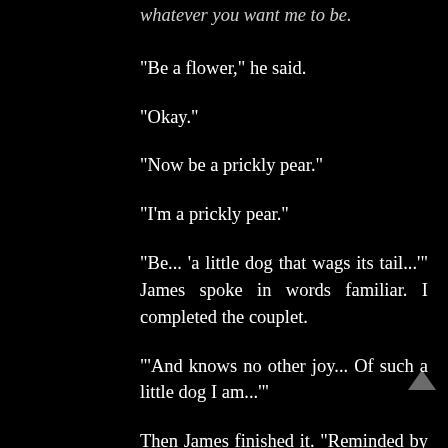whatever you want me to be.
“Be a flower,” he said.
“Okay.”
“Now be a prickly pear.”
“I’m a prickly pear.”
“Be... ‘a little dog that wags its tail...’” James spoke in words familiar. I completed the couplet.
“‘And knows no other joy... Of such a little dog I am...’”
Then James finished it. “Reminded by a Boy.”